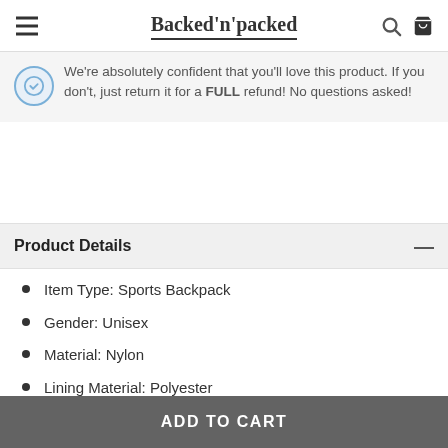Backed'n'packed
We're absolutely confident that you'll love this product. If you don't, just return it for a FULL refund! No questions asked!
Product Details
Item Type: Sports Backpack
Gender: Unisex
Material: Nylon
Lining Material: Polyester
ADD TO CART